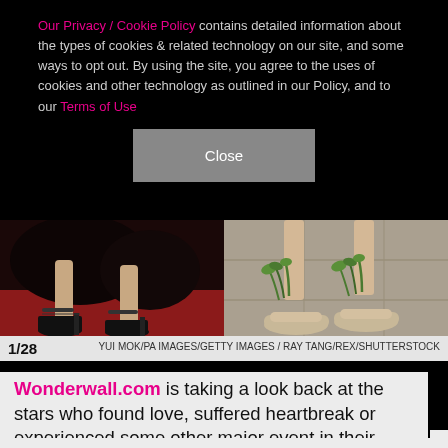Our Privacy / Cookie Policy contains detailed information about the types of cookies & related technology on our site, and some ways to opt out. By using the site, you agree to the uses of cookies and other technology as outlined in our Policy, and to our Terms of Use
Close
[Figure (photo): Two side-by-side photos showing women's feet and shoes: left photo shows black high heels on a red carpet, right photo shows beige flats decorated with greenery on a sidewalk]
1/28    YUI MOK/PA IMAGES/GETTY IMAGES / RAY TANG/REX/SHUTTERSTOCK
Wonderwall.com is taking a look back at the stars who found love, suffered heartbreak or experienced some other major event in their love lives this week, starting